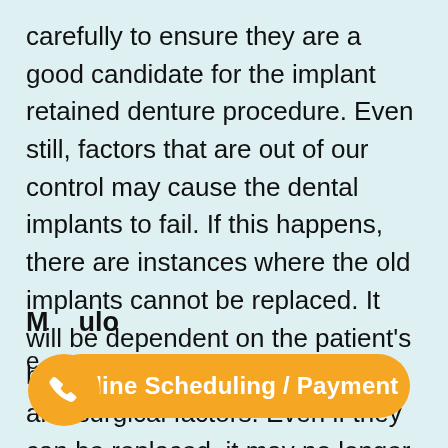carefully to ensure they are a good candidate for the implant retained denture procedure. Even still, factors that are out of our control may cause the dental implants to fail. If this happens, there are instances where the old implants cannot be replaced. It will be dependent on the patient's bone as well as other technical and surgical factors. Even if they can be replaced, it may no longer be a cost-effective solution for the patient.
M…ulo…
e…rag…